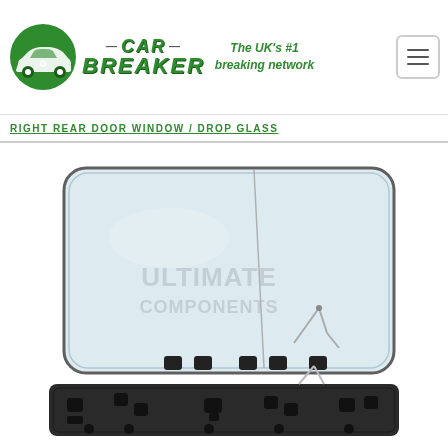CAR BREAKER — The UK's #1 breaking network
RIGHT REAR DOOR WINDOW / DROP GLASS
[Figure (photo): Product photo of a car door mirror glass with backing plate. Two mirror glass pieces shown — one flat with rounded corners, one angled — both with 'ULTIMATE COMPONENTS' watermark. Black plastic backing plate with mounting clips visible below.]